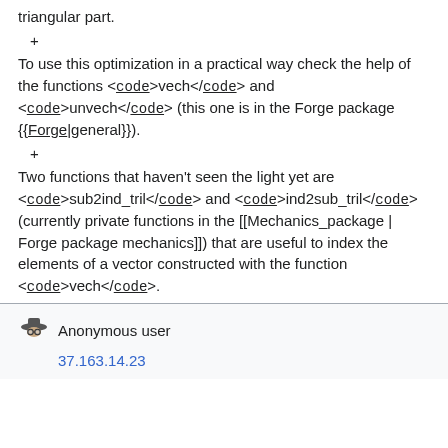triangular part.
+
To use this optimization in a practical way check the help of the functions <code>vech</code> and <code>unvech</code> (this one is in the Forge package {{Forge|general}}).
+
Two functions that haven't seen the light yet are <code>sub2ind_tril</code> and <code>ind2sub_tril</code> (currently private functions in the [[Mechanics_package | Forge package mechanics]]) that are useful to index the elements of a vector constructed with the function <code>vech</code>.
Anonymous user
37.163.14.23